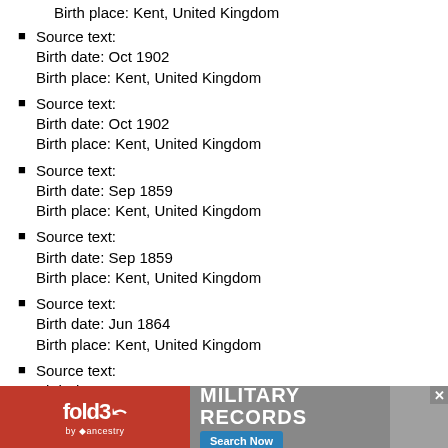Birth place: Kent, United Kingdom
Source text:
Birth date: Oct 1902
Birth place: Kent, United Kingdom
Source text:
Birth date: Oct 1902
Birth place: Kent, United Kingdom
Source text:
Birth date: Sep 1859
Birth place: Kent, United Kingdom
Source text:
Birth date: Sep 1859
Birth place: Kent, United Kingdom
Source text:
Birth date: Jun 1864
Birth place: Kent, United Kingdom
Source text:
Birth date: Jun 1864
Birth place: Kent, United Kingdom
Source text:
Birth date: Dec 1837
Birth place: Kent, United Kingdom
[Figure (infographic): fold3 by Ancestry advertisement banner for Military Records with Search Now button]